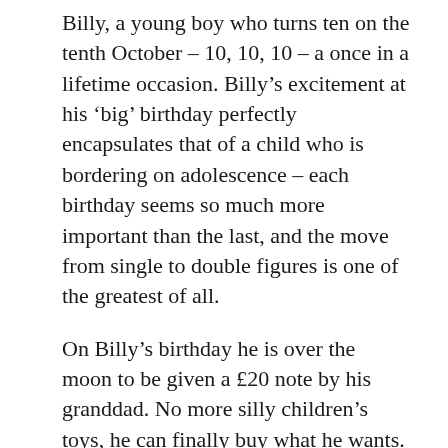Billy, a young boy who turns ten on the tenth October – 10, 10, 10 – a once in a lifetime occasion. Billy's excitement at his 'big' birthday perfectly encapsulates that of a child who is bordering on adolescence – each birthday seems so much more important than the last, and the move from single to double figures is one of the greatest of all.
On Billy's birthday he is over the moon to be given a £20 note by his granddad. No more silly children's toys, he can finally buy what he wants. At the age of ten this must seem like a huge amount of money – possibly more than Billy has ever owned. The options available to him seem countless. But things take an